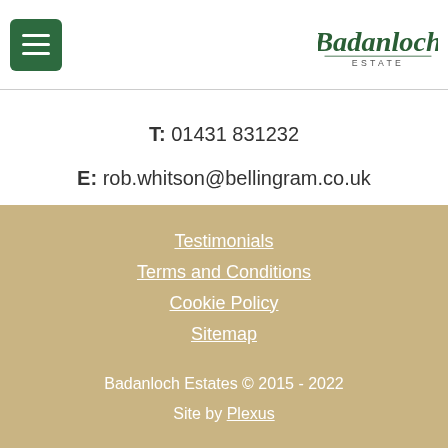[Figure (logo): Badanloch Estate logo with menu hamburger button]
T: 01431 831232
E: rob.whitson@bellingram.co.uk
Testimonials
Terms and Conditions
Cookie Policy
Sitemap
Badanloch Estates © 2015 - 2022
Site by Plexus